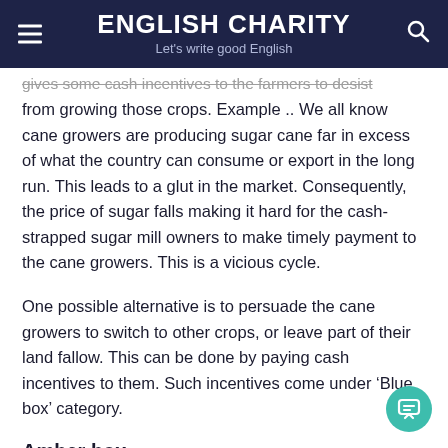ENGLISH CHARITY
Let's write good English
gives some cash incentives to the farmers to desist from growing those crops. Example .. We all know cane growers are producing sugar cane far in excess of what the country can consume or export in the long run. This leads to a glut in the market. Consequently, the price of sugar falls making it hard for the cash-strapped sugar mill owners to make timely payment to the cane growers. This is a vicious cycle.
One possible alternative is to persuade the cane growers to switch to other crops, or leave part of their land fallow. This can be done by paying cash incentives to them. Such incentives come under ‘Blue box’ category.
Amber box ..